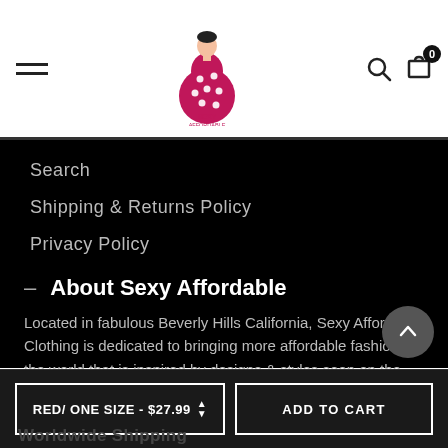Sexy Affordable — navigation header with logo, hamburger menu, search and cart icons
Search
Shipping & Returns Policy
Privacy Policy
— About Sexy Affordable
Located in fabulous Beverly Hills California, Sexy Affordable Clothing is dedicated to bringing more affordable fashion to the world that is inspired by designs & styles seen on the famous Rodeo Drive.
RED/ ONE SIZE - $27.99
ADD TO CART
Worldwide Shipping